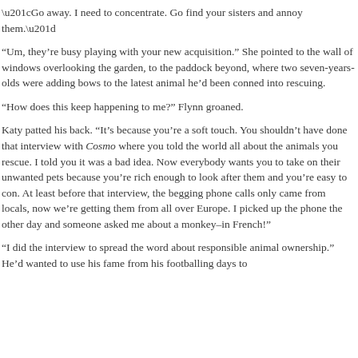“Go away. I need to concentrate. Go find your sisters and annoy them.”
“Um, they’re busy playing with your new acquisition.” She pointed to the wall of windows overlooking the garden, to the paddock beyond, where two seven-years-olds were adding bows to the latest animal he’d been conned into rescuing.
“How does this keep happening to me?” Flynn groaned.
Katy patted his back. “It’s because you’re a soft touch. You shouldn’t have done that interview with Cosmo where you told the world all about the animals you rescue. I told you it was a bad idea. Now everybody wants you to take on their unwanted pets because you’re rich enough to look after them and you’re easy to con. At least before that interview, the begging phone calls only came from locals, now we’re getting them from all over Europe. I picked up the phone the other day and someone asked me about a monkey–in French!”
“I did the interview to spread the word about responsible animal ownership.” He’d wanted to use his fame from his footballing days to